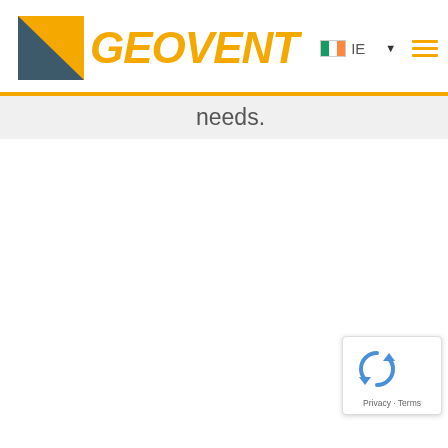GEOVENT IE
needs.
[Figure (logo): reCAPTCHA badge with recycle/refresh icon, Privacy and Terms links]